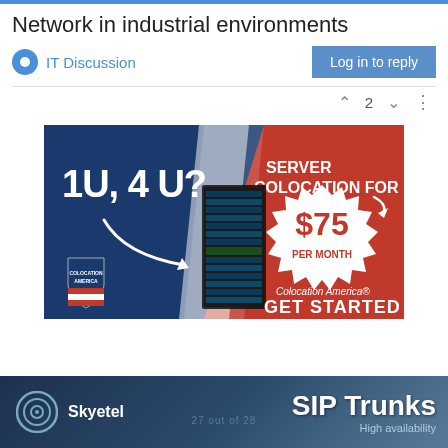Network in industrial environments
IT Discussion
Log in to reply
2
[Figure (infographic): Colocation America advertisement: Blue and red background with white diagonal stripe. Left side (blue) shows text '1U, 4 U?' with white arrow. Right side (red) shows 'SERVER COLOCATION FOR' with starburst badge showing '$75 PER MONTH'. Center shows a server rack image. Bottom left has Colocation America shield logo. Bottom right text reads 'Colocation America GET STARTED NOW'.]
[Figure (infographic): Skyetel SIP Trunks advertisement strip: Dark blue/navy gradient background. Left side shows Skyetel circular logo and brand name. Right side shows 'SIP Trunks' in large bold white text. Bottom text reads 'High availability'. Watermark text '27 out of 28' visible.]